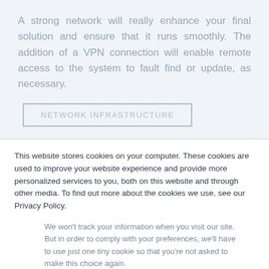A strong network will really enhance your final solution and ensure that it runs smoothly. The addition of a VPN connection will enable remote access to the system to fault find or update, as necessary.
[Figure (other): A rectangular outlined button with text NETWORK INFRASTRUCTURE in uppercase grey letters]
This website stores cookies on your computer. These cookies are used to improve your website experience and provide more personalized services to you, both on this website and through other media. To find out more about the cookies we use, see our Privacy Policy.
We won't track your information when you visit our site. But in order to comply with your preferences, we'll have to use just one tiny cookie so that you're not asked to make this choice again.
[Figure (other): Two buttons: Accept (dark filled) and Decline (outlined)]